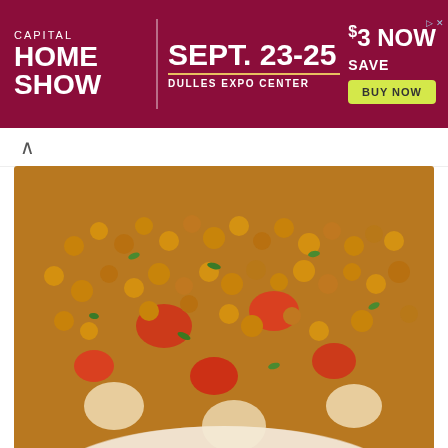[Figure (infographic): Capital Home Show advertisement banner with dark red/maroon background. Left section: 'CAPITAL HOME SHOW' in white bold text. Center: 'SEPT. 23-25' in large white bold text with gold underline, 'DULLES EXPO CENTER' below. Right: 'SAVE $3 NOW' in white bold text, yellow-green 'BUY NOW' button. Small ad icons top-right corner.]
[Figure (photo): Close-up food photograph of Delhi Ki Spicy Chana Chaat — roasted chickpeas (chana), chopped tomatoes, potatoes, and fresh green cilantro/herbs in a white bowl, shot from above with warm tones.]
Delhi Ki Spicy Chana Chaat
[Figure (photo): Partial food photograph showing what appears to be a light-colored food item (possibly a dumpling or pastry wrapper) on a wooden surface, cropped at the bottom of the page.]